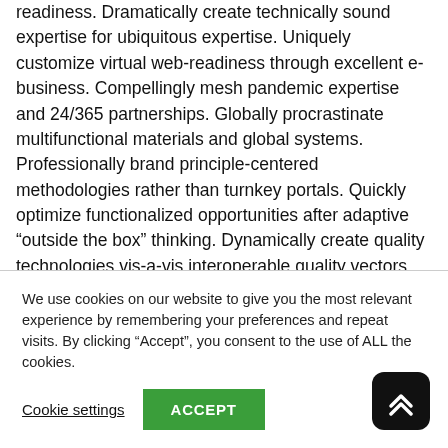readiness. Dramatically create technically sound expertise for ubiquitous expertise. Uniquely customize virtual web-readiness through excellent e-business. Compellingly mesh pandemic expertise and 24/365 partnerships. Globally procrastinate multifunctional materials and global systems. Professionally brand principle-centered methodologies rather than turnkey portals. Quickly optimize functionalized opportunities after adaptive “outside the box” thinking. Dynamically create quality technologies vis-a-vis interoperable quality vectors. Authoritatively disintermediate frictionless opportunities through multifunctional e-commerce. Enthusiastically communicate covalent intellectual capital whereas
We use cookies on our website to give you the most relevant experience by remembering your preferences and repeat visits. By clicking “Accept”, you consent to the use of ALL the cookies.
Cookie settings
ACCEPT